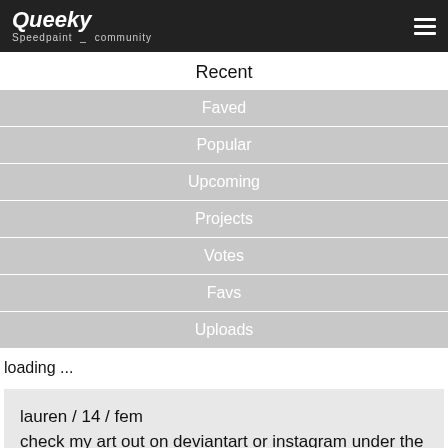Queeky — Speedpaint community
Recent
Faved
Popular
Upcoming
Projects
Votes
Favs
Uploads
loading ...
lauren / 14 / fem
check my art out on deviantart or instagram under the name f5ver!